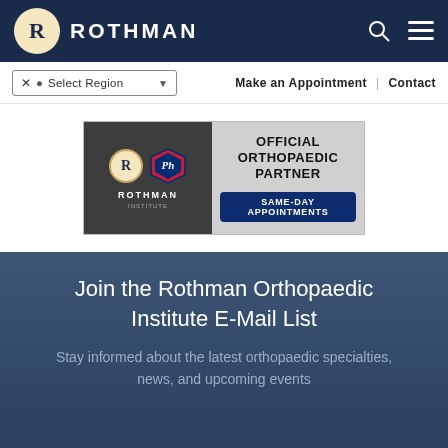ROTHMAN
Select Region | Make an Appointment | Contact
[Figure (logo): Rothman Institute official orthopaedic partner of the Philadelphia Phillies banner with same-day appointments callout]
Join the Rothman Orthopaedic Institute E-Mail List
Stay informed about the latest orthopaedic specialties, news, and upcoming events